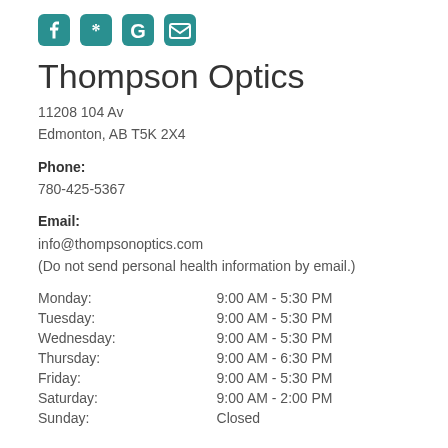[Figure (other): Social media icons: Facebook, Yelp, Google, and email/envelope icons in teal color]
Thompson Optics
11208 104 Av
Edmonton, AB T5K 2X4
Phone:
780-425-5367
Email:
info@thompsonoptics.com
(Do not send personal health information by email.)
| Day | Hours |
| --- | --- |
| Monday: | 9:00 AM - 5:30 PM |
| Tuesday: | 9:00 AM - 5:30 PM |
| Wednesday: | 9:00 AM - 5:30 PM |
| Thursday: | 9:00 AM - 6:30 PM |
| Friday: | 9:00 AM - 5:30 PM |
| Saturday: | 9:00 AM - 2:00 PM |
| Sunday: | Closed |